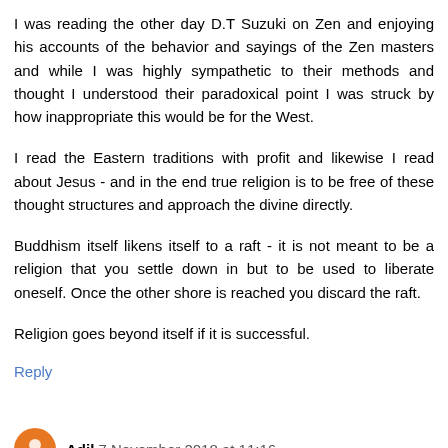I was reading the other day D.T Suzuki on Zen and enjoying his accounts of the behavior and sayings of the Zen masters and while I was highly sympathetic to their methods and thought I understood their paradoxical point I was struck by how inappropriate this would be for the West.
I read the Eastern traditions with profit and likewise I read about Jesus - and in the end true religion is to be free of these thought structures and approach the divine directly.
Buddhism itself likens itself to a raft - it is not meant to be a religion that you settle down in but to be used to liberate oneself. Once the other shore is reached you discard the raft.
Religion goes beyond itself if it is successful.
Reply
Adil 7 November 2018 at 11:16
The claiming of one's own progress in the true, ethical...